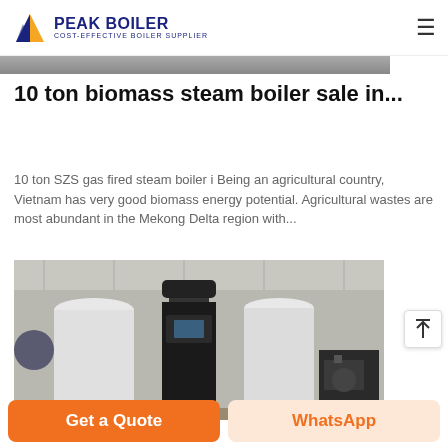PEAK BOILER COST-EFFECTIVE BOILER SUPPLIER
[Figure (photo): Top partial image strip showing industrial boiler equipment in gray tones]
10 ton biomass steam boiler sale in...
10 ton SZS gas fired steam boiler i Being an agricultural country, Vietnam has very good biomass energy potential. Agricultural wastes are most abundant in the Mekong Delta region with...
[Figure (photo): Industrial boilers in a factory warehouse: white cylindrical tanks, a black vertical boiler unit, and heavy industrial equipment on pallets]
Get a Quote
WhatsApp